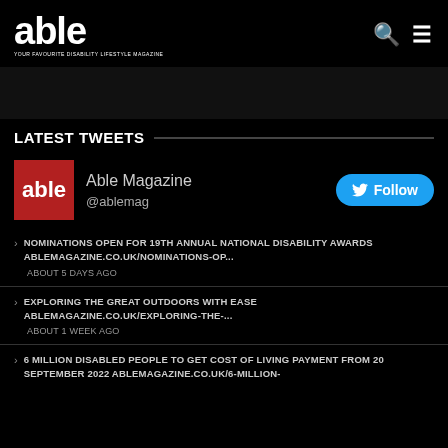able — YOUR FAVOURITE DISABILITY LIFESTYLE MAGAZINE
LATEST TWEETS
Able Magazine @ablemag
NOMINATIONS OPEN FOR 19TH ANNUAL NATIONAL DISABILITY AWARDS ABLEMAGAZINE.CO.UK/NOMINATIONS-OP... ABOUT 5 DAYS AGO
EXPLORING THE GREAT OUTDOORS WITH EASE ABLEMAGAZINE.CO.UK/EXPLORING-THE-... ABOUT 1 WEEK AGO
6 MILLION DISABLED PEOPLE TO GET COST OF LIVING PAYMENT FROM 20 SEPTEMBER 2022 ABLEMAGAZINE.CO.UK/6-MILLION-